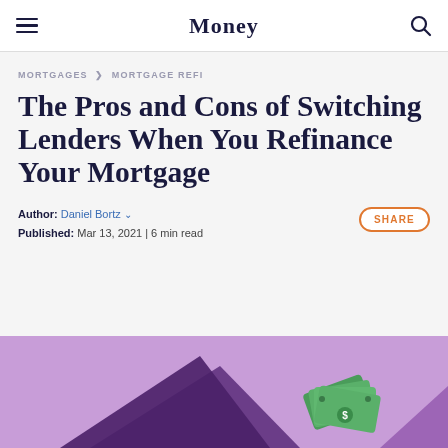Money
MORTGAGES > MORTGAGE REFI
The Pros and Cons of Switching Lenders When You Refinance Your Mortgage
Author: Daniel Bortz  Published: Mar 13, 2021 | 6 min read
[Figure (illustration): Purple background with illustrated elements including a green dollar bill / money fan and a dark purple geometric shape at the bottom of the page]